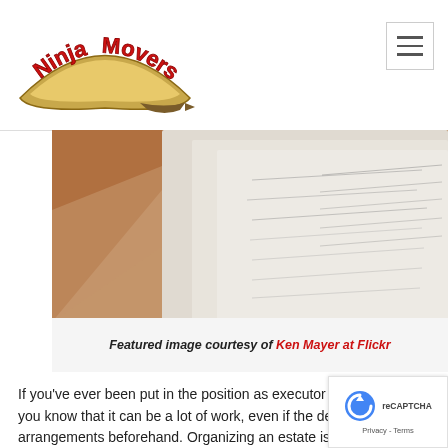[Figure (logo): Ninja Movers logo with red text on gold/beige arched banner with brown arrow]
[Figure (other): Navigation hamburger menu icon, three horizontal lines in a bordered box]
[Figure (photo): Photo of documents/papers on a desk, appears to be legal or estate documents]
Featured image courtesy of Ken Mayer at Flickr
If you've ever been put in the position as executor of an estate, you know that it can be a lot of work, even if the deceased made arrangements beforehand. Organizing an estate is emotional and a lot of time consuming hard work, but you can make even a disorganized estate go more smoothly if y